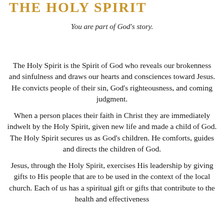THE HOLY SPIRIT
You are part of God's story.
The Holy Spirit is the Spirit of God who reveals our brokenness and sinfulness and draws our hearts and consciences toward Jesus. He convicts people of their sin, God's righteousness, and coming judgment.
When a person places their faith in Christ they are immediately indwelt by the Holy Spirit, given new life and made a child of God. The Holy Spirit secures us as God's children. He comforts, guides and directs the children of God.
Jesus, through the Holy Spirit, exercises His leadership by giving gifts to His people that are to be used in the context of the local church. Each of us has a spiritual gift or gifts that contribute to the health and effectiveness